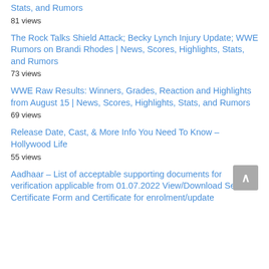Stats, and Rumors
81 views
The Rock Talks Shield Attack; Becky Lynch Injury Update; WWE Rumors on Brandi Rhodes | News, Scores, Highlights, Stats, and Rumors
73 views
WWE Raw Results: Winners, Grades, Reaction and Highlights from August 15 | News, Scores, Highlights, Stats, and Rumors
69 views
Release Date, Cast, & More Info You Need To Know – Hollywood Life
55 views
Aadhaar – List of acceptable supporting documents for verification applicable from 01.07.2022 View/Download Self Certificate Form and Certificate for enrolment/update